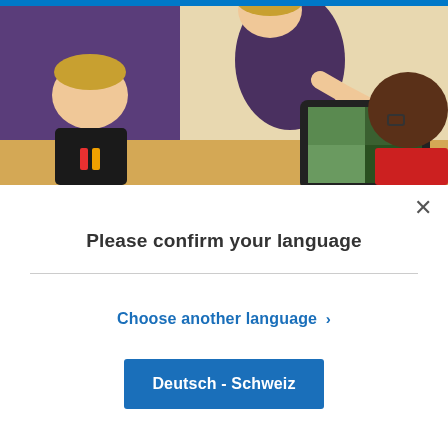[Figure (photo): Classroom photo showing a female teacher leaning over a desk helping two young children (one white boy, one Black boy) look at a tablet computer. A whiteboard with writing is visible in the background.]
×
Please confirm your language
Choose another language >
Deutsch - Schweiz